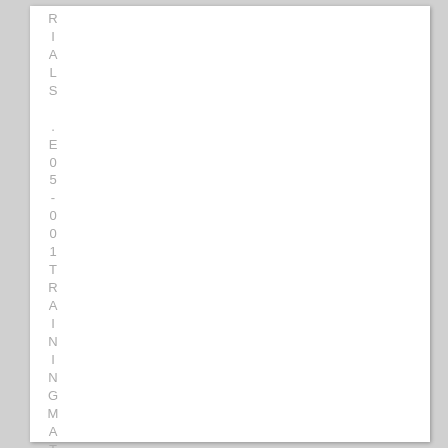RIALS .E05-001TRAININGMATERIAL